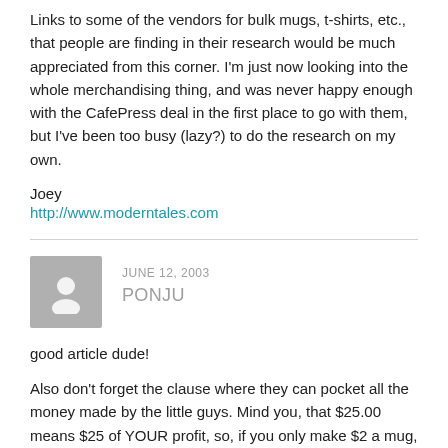Links to some of the vendors for bulk mugs, t-shirts, etc., that people are finding in their research would be much appreciated from this corner. I'm just now looking into the whole merchandising thing, and was never happy enough with the CafePress deal in the first place to go with them, but I've been too busy (lazy?) to do the research on my own.
Joey
http://www.moderntales.com
JUNE 12, 2003
PONJU
good article dude!
Also don't forget the clause where they can pocket all the money made by the little guys. Mind you, that $25.00 means $25 of YOUR profit, so, if you only make $2 a mug, then you gotta sell $162 (12.5 mugs) within six months or else they won't pay you at all!